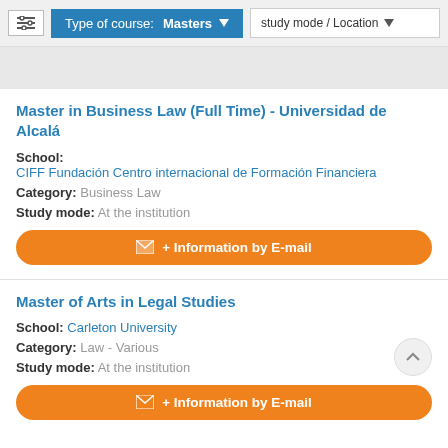Type of course: Masters | study mode / Location
Master in Business Law (Full Time) - Universidad de Alcalá
School: CIFF Fundación Centro internacional de Formación Financiera
Category: Business Law
Study mode: At the institution
+ Information by E-mail
Master of Arts in Legal Studies
School: Carleton University
Category: Law - Various
Study mode: At the institution
+ Information by E-mail